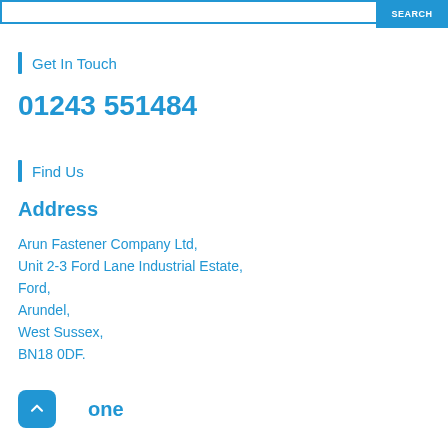[Figure (screenshot): Search bar with input field and blue SEARCH button]
Get In Touch
01243 551484
Find Us
Address
Arun Fastener Company Ltd,
Unit 2-3 Ford Lane Industrial Estate,
Ford,
Arundel,
West Sussex,
BN18 0DF.
Phone